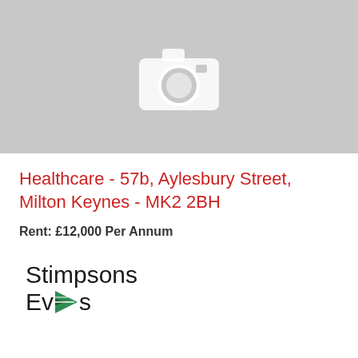[Figure (photo): Grey placeholder image with a camera icon, indicating no photo available for the property listing]
Healthcare - 57b, Aylesbury Street, Milton Keynes - MK2 2BH
Rent: £12,000 Per Annum
[Figure (logo): Stimpsons Eves logo with green triangle/arrow graphic]